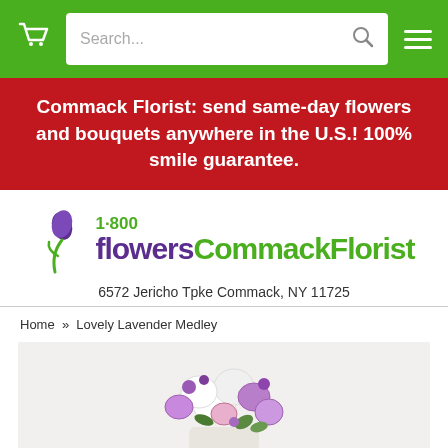Navigation bar with cart icon, search box, and hamburger menu
Commack Florist: send same-day flowers and bouquets anywhere in the U.S.! 100% smile guarantee.
[Figure (logo): 1-800-flowers Commack Florist logo with tulip icon]
6572 Jericho Tpke Commack, NY 11725
Home » Lovely Lavender Medley
[Figure (photo): Lovely Lavender Medley flower bouquet with purple and white flowers]